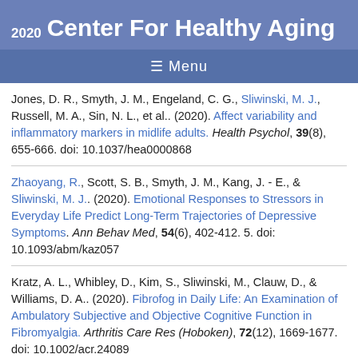Center For Healthy Aging 2020
≡ Menu
Jones, D. R., Smyth, J. M., Engeland, C. G., Sliwinski, M. J., Russell, M. A., Sin, N. L., et al.. (2020). Affect variability and inflammatory markers in midlife adults. Health Psychol, 39(8), 655-666. doi: 10.1037/hea0000868
Zhaoyang, R., Scott, S. B., Smyth, J. M., Kang, J. - E., & Sliwinski, M. J.. (2020). Emotional Responses to Stressors in Everyday Life Predict Long-Term Trajectories of Depressive Symptoms. Ann Behav Med, 54(6), 402-412. 5. doi: 10.1093/abm/kaz057
Kratz, A. L., Whibley, D., Kim, S., Sliwinski, M., Clauw, D., & Williams, D. A.. (2020). Fibrofog in Daily Life: An Examination of Ambulatory Subjective and Objective Cognitive Function in Fibromyalgia. Arthritis Care Res (Hoboken), 72(12), 1669-1677. doi: 10.1002/acr.24089
Neubauer, A. B., Scott, S. B., Sliwinski, M. J., & Smyth, J. M.. (2020). How was your day? Convergence of aggregated momentary and